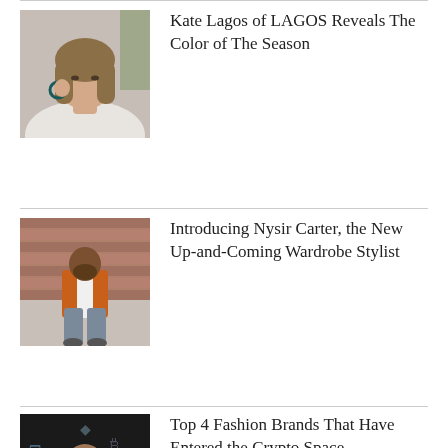[Figure (photo): Woman with dark hoop earrings touching her ear, long brown hair, light background]
Kate Lagos of LAGOS Reveals The Color of The Season
[Figure (photo): Man in orange jacket and ripped jeans standing outdoors near brick building]
Introducing Nysir Carter, the New Up-and-Coming Wardrobe Stylist
[Figure (photo): Person in dark patterned outfit with crypto symbols overlay on dark background]
Top 4 Fashion Brands That Have Entered the Crypto Space